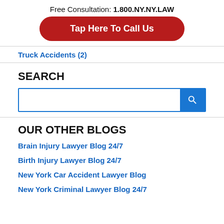Free Consultation: 1.800.NY.NY.LAW
Tap Here To Call Us
Truck Accidents (2)
SEARCH
OUR OTHER BLOGS
Brain Injury Lawyer Blog 24/7
Birth Injury Lawyer Blog 24/7
New York Car Accident Lawyer Blog
New York Criminal Lawyer Blog 24/7